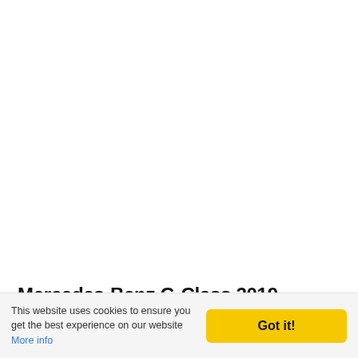[Figure (photo): Large white/blank area at the top of a webpage screenshot, with a partial view of a Mercedes-Benz vehicle image strip near the bottom of the content area.]
Mercedes-Benz G-Class 2019
[Figure (photo): Horizontal strip showing a close-up photograph of a silver Mercedes-Benz G-Class 2019 vehicle, showing diagonal lines of the car bodywork.]
This website uses cookies to ensure you get the best experience on our website More info
Got it!